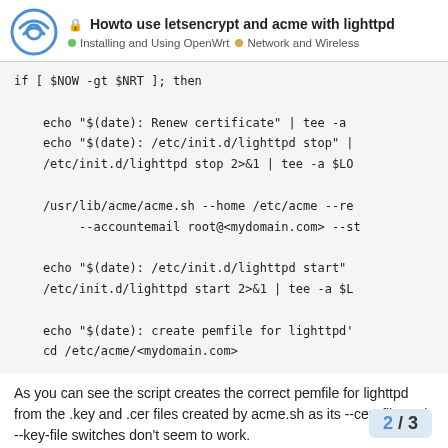Howto use letsencrypt and acme with lighttpd | Installing and Using OpenWrt | Network and Wireless
[Figure (screenshot): Code block showing shell script snippet with if [ $NOW -gt $NRT ]; then condition and echo/acme commands]
As you can see the script creates the correct pemfile for lighttpd from the .key and .cer files created by acme.sh as its --cert-file and --key-file switches don't seem to work.
2 / 3